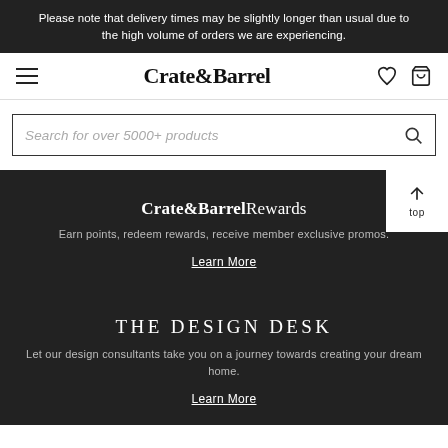Please note that delivery times may be slightly longer than usual due to the high volume of orders we are experiencing.
[Figure (screenshot): Crate & Barrel website navigation bar with hamburger menu, logo, heart icon, and shopping cart icon]
Search for over 5000+ products
[Figure (screenshot): Top button with upward arrow and 'top' label]
Crate&Barrel Rewards
Earn points, redeem rewards, receive member exclusive promos.
Learn More
THE DESIGN DESK
Let our design consultants take you on a journey towards creating your dream home.
Learn More